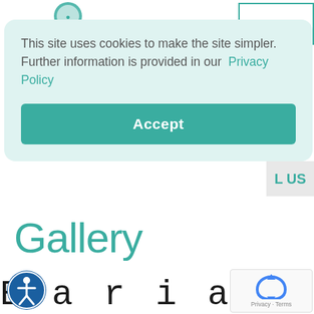N
This site uses cookies to make the site simpler. Further information is provided in our  Privacy Policy
Accept
L US
Gallery
Bariatric Surgery: Before & After